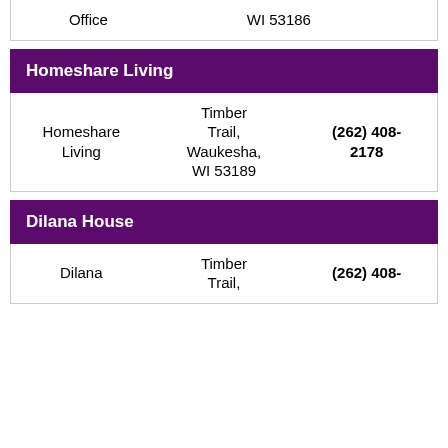| Name | Address | Phone |
| --- | --- | --- |
| Office | WI 53186 |  |
Homeshare Living
| Name | Address | Phone |
| --- | --- | --- |
| Homeshare Living | Timber Trail, Waukesha, WI 53189 | (262) 408-2178 |
Dilana House
| Name | Address | Phone |
| --- | --- | --- |
| Dilana | Timber Trail, | (262) 408- |